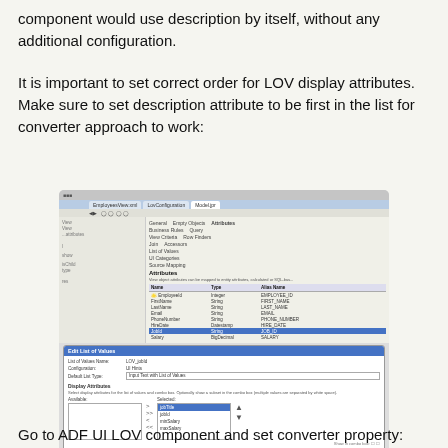component would use description by itself, without any additional configuration.
It is important to set correct order for LOV display attributes. Make sure to set description attribute to be first in the list for converter approach to work:
[Figure (screenshot): IDE screenshot showing ADF view object attributes panel with a LOV configuration dialog open, displaying list of values name 'LOV_jobId', configuration options, display attributes panel with Available/Selected listboxes where jobTitle is selected, and List Search section.]
Go to ADF UI LOV component and set converter property: